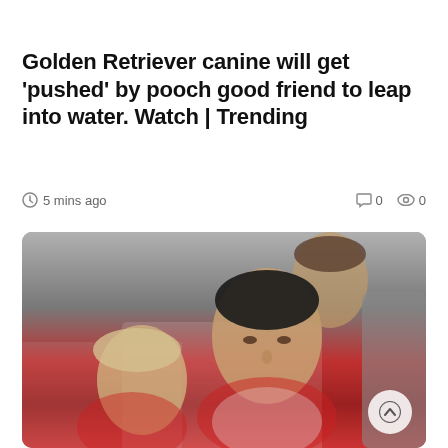Golden Retriever canine will get 'pushed' by pooch good friend to leap into water. Watch | Trending
5 mins ago   0   0
[Figure (photo): Photo of football players including Cristiano Ronaldo sitting on a bench in Manchester United jerseys, with red stadium seats visible in the background.]